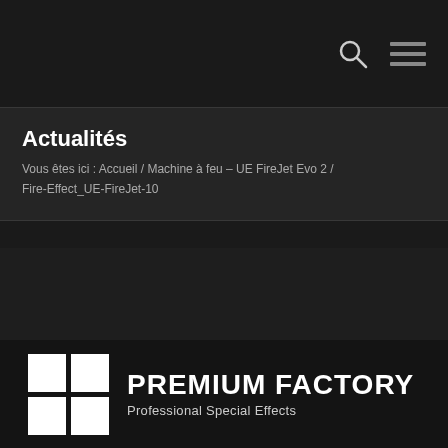Actualités
Vous êtes ici :  Accueil  /  Machine à feu – UE FireJet Evo 2  /  Fire-Effect_UE-FireJet-10
[Figure (logo): Premium Factory logo with four-square grid icon and text 'PREMIUM FACTORY / Professional Special Effects']